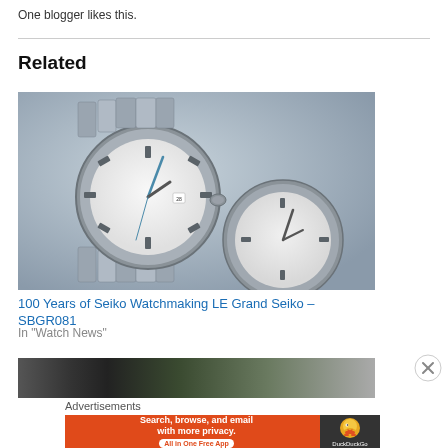One blogger likes this.
Related
[Figure (photo): Two Grand Seiko watches on a reflective surface with blue-grey background]
100 Years of Seiko Watchmaking LE Grand Seiko – SBGR081
In "Watch News"
[Figure (photo): Partially visible image strip at bottom]
Advertisements
[Figure (infographic): DuckDuckGo advertisement banner: Search, browse, and email with more privacy. All in One Free App]